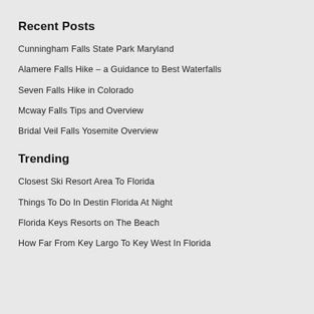Recent Posts
Cunningham Falls State Park Maryland
Alamere Falls Hike – a Guidance to Best Waterfalls
Seven Falls Hike in Colorado
Mcway Falls Tips and Overview
Bridal Veil Falls Yosemite Overview
Trending
Closest Ski Resort Area To Florida
Things To Do In Destin Florida At Night
Florida Keys Resorts on The Beach
How Far From Key Largo To Key West In Florida